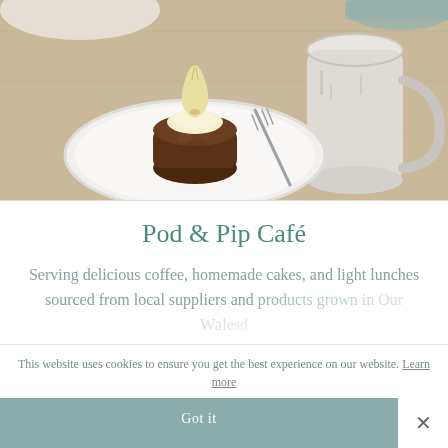[Figure (photo): Photo of a small round chocolate cake/pudding topped with cream and a pear slice, served on a white plate with a fork, beside a white ceramic pitcher, on a wooden table surface.]
Pod & Pip Café
Serving delicious coffee, homemade cakes, and light lunches sourced from local suppliers and ...
This website uses cookies to ensure you get the best experience on our website. Learn more
Got it